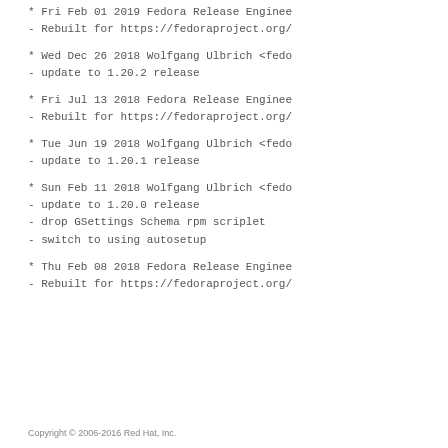* Fri Feb 01 2019 Fedora Release Enginee
- Rebuilt for https://fedoraproject.org/
* Wed Dec 26 2018 Wolfgang Ulbrich <fedo
- update to 1.20.2 release
* Fri Jul 13 2018 Fedora Release Enginee
- Rebuilt for https://fedoraproject.org/
* Tue Jun 19 2018 Wolfgang Ulbrich <fedo
- update to 1.20.1 release
* Sun Feb 11 2018 Wolfgang Ulbrich <fedo
- update to 1.20.0 release
- drop GSettings Schema rpm scriplet
- switch to using autosetup
* Thu Feb 08 2018 Fedora Release Enginee
- Rebuilt for https://fedoraproject.org/
Copyright © 2006-2016 Red Hat, Inc.